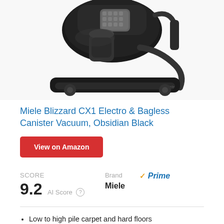[Figure (photo): Miele Blizzard CX1 Electro bagless canister vacuum cleaner in obsidian black, showing the body and floor head attachment from an angle.]
Miele Blizzard CX1 Electro & Bagless Canister Vacuum, Obsidian Black
View on Amazon
SCORE
9.2 AI Score
Brand
Miele
Prime
Low to high pile carpet and hard floors
Great cleaning performance: Air flow of more than